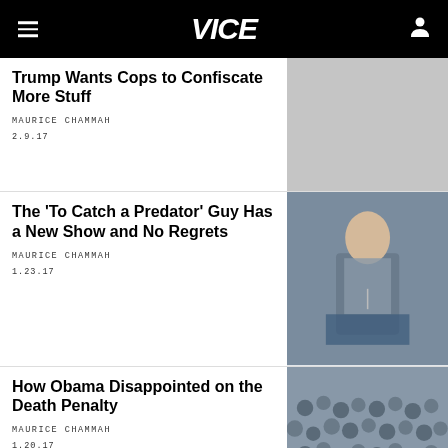VICE
Trump Wants Cops to Confiscate More Stuff
MAURICE CHAMMAH
2.9.17
[Figure (photo): Light gray placeholder image for article thumbnail]
The 'To Catch a Predator' Guy Has a New Show and No Regrets
MAURICE CHAMMAH
1.23.17
[Figure (photo): Man in suit speaking at a podium with a law enforcement seal]
How Obama Disappointed on the Death Penalty
MAURICE CHAMMAH
1.20.17
[Figure (photo): Large crowd of people at an outdoor event]